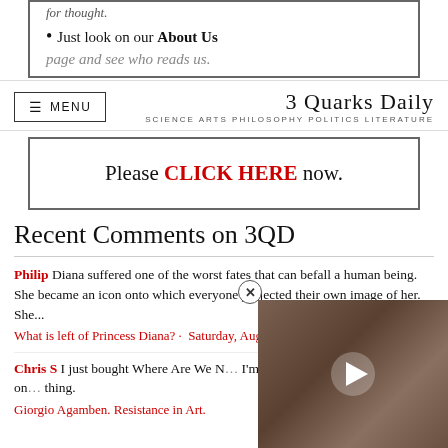for thought. • Just look on our About Us page and see who reads us.
MENU | 3 Quarks Daily — SCIENCE ARTS PHILOSOPHY POLITICS LITERATURE
Please CLICK HERE now.
Recent Comments on 3QD
Philip Diana suffered one of the worst fates that can befall a human being. She became an icon onto which everyone projected their own image of her. She...
What is left of Princess Diana? · Saturday, August 27, 2022
Chris S I just bought Where Are We N... I'm no philosopher, but I think he's on... thing.
Giorgio Agamben. Resistance in Art.
[Figure (photo): Video overlay showing a snake or reptile image with a play button, partially covering the lower right of the page. A close button (X) appears at the top-left of the overlay.]